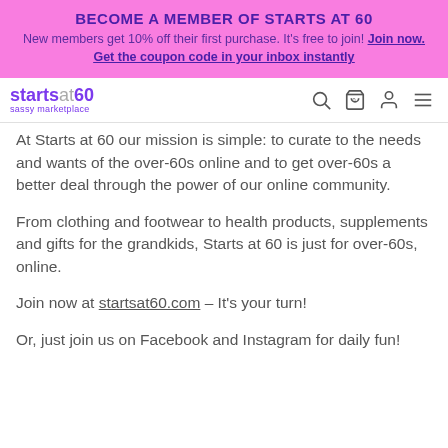BECOME A MEMBER OF STARTS AT 60
New members get 10% off their first purchase. It's free to join! Join now. Get the coupon code in your inbox instantly
[Figure (logo): Starts at 60 sassy marketplace logo with navigation icons (search, cart, user, menu)]
At Starts at 60 our mission is simple: to curate to the needs and wants of the over-60s online and to get over-60s a better deal through the power of our online community.
From clothing and footwear to health products, supplements and gifts for the grandkids, Starts at 60 is just for over-60s, online.
Join now at startsat60.com – It's your turn!
Or, just join us on Facebook and Instagram for daily fun!